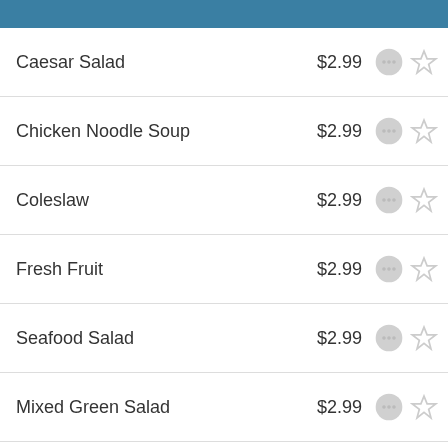Homestyle Sides
Caesar Salad $2.99
Chicken Noodle Soup $2.99
Coleslaw $2.99
Fresh Fruit $2.99
Seafood Salad $2.99
Mixed Green Salad $2.99
Potato Salad $2.99
Homestyle Sides
Green Beans $2.99
Cornbread Dressing $2.99